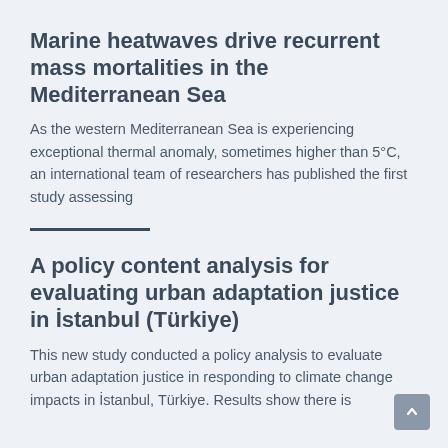Marine heatwaves drive recurrent mass mortalities in the Mediterranean Sea
As the western Mediterranean Sea is experiencing exceptional thermal anomaly, sometimes higher than 5°C, an international team of researchers has published the first study assessing
A policy content analysis for evaluating urban adaptation justice in İstanbul (Türkiye)
This new study conducted a policy analysis to evaluate urban adaptation justice in responding to climate change impacts in İstanbul, Türkiye. Results show there is